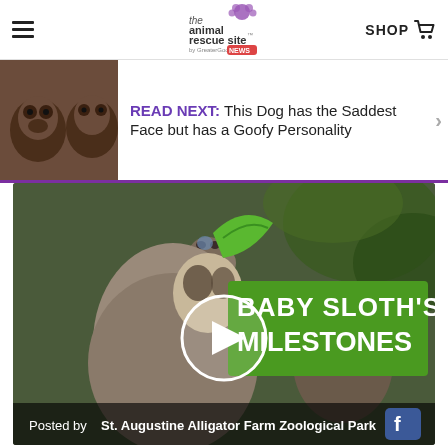The Animal Rescue Site News — SHOP
READ NEXT: This Dog has the Saddest Face but has a Goofy Personality
[Figure (screenshot): Video thumbnail showing a baby sloth with its mother. Green text overlay reads 'BABY SLOTH'S MILESTONES' with a play button in the center. Bottom bar reads 'Posted by St. Augustine Alligator Farm Zoological Park' with a Facebook icon.]